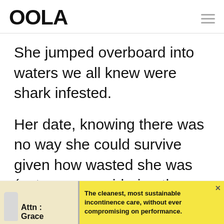OOLA
She jumped overboard into waters we all knew were shark infested.
Her date, knowing there was no way she could survive given how wasted she was (not even considering the sharks), emptied his pockets and ju...
[Figure (infographic): Advertisement banner for Attn: Grace incontinence products with yellow background. Text reads: The cleanest, most sustainable incontinence care, without ever compromising on performance.]